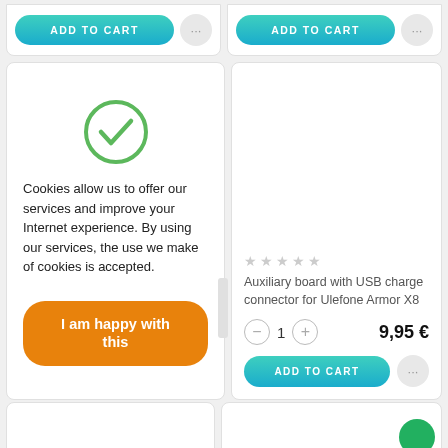[Figure (screenshot): Two 'ADD TO CART' buttons with '...' icons at top of page, partially cropped]
[Figure (screenshot): Cookie consent overlay with green checkmark, text about cookies, and orange 'I am happy with this' button]
Cookies allow us to offer our services and improve your Internet experience. By using our services, the use we make of cookies is accepted.
I am happy with this
[Figure (screenshot): Product card for 'Auxiliary board with USB charge connector for Ulefone Armor X8' with 5 empty stars, quantity 1, price 9,95 € and ADD TO CART button]
Auxiliary board with USB charge connector for Ulefone Armor X8
9,95 €